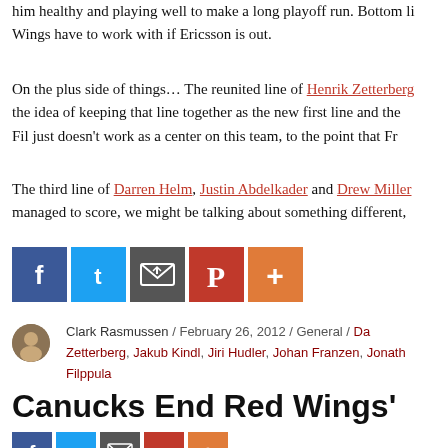him healthy and playing well to make a long playoff run. Bottom line: Wings have to work with if Ericsson is out.
On the plus side of things… The reunited line of Henrik Zetterberg, the idea of keeping that line together as the new first line and then Fil just doesn't work as a center on this team, to the point that Fra
The third line of Darren Helm, Justin Abdelkader and Drew Miller managed to score, we might be talking about something different,
[Figure (infographic): Social sharing buttons: Facebook (blue), Twitter (light blue), Email/envelope (dark gray), Pinterest (red), More/plus (orange)]
Clark Rasmussen / February 26, 2012 / General / Da Zetterberg, Jakub Kindl, Jiri Hudler, Johan Franzen, Jonath Filppula
Canucks End Red Wings'
[Figure (infographic): Social sharing buttons row: Facebook (blue), Twitter (light blue), Email (dark gray), Pinterest (red), More/plus (orange)]